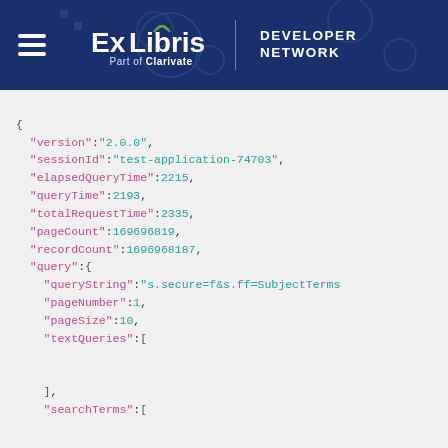ExLibris Part of Clarivate | DEVELOPER NETWORK
JSON code block showing API response with fields: version, sessionId, elapsedQueryTime, queryTime, totalRequestTime, pageCount, recordCount, query object containing queryString, pageNumber, pageSize, textQueries, searchTerms, textFilters